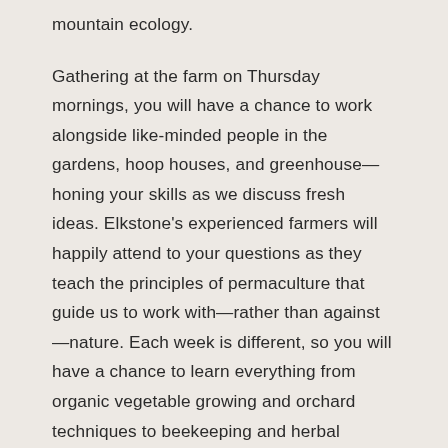mountain ecology.
Gathering at the farm on Thursday mornings, you will have a chance to work alongside like-minded people in the gardens, hoop houses, and greenhouse—honing your skills as we discuss fresh ideas. Elkstone's experienced farmers will happily attend to your questions as they teach the principles of permaculture that guide us to work with—rather than against—nature. Each week is different, so you will have a chance to learn everything from organic vegetable growing and orchard techniques to beekeeping and herbal medicine harvesting.
The Permaculture Gardeners' Club will meet every Thursday morning from 8am to 11:30am, followed by a tasty farm-to-table lunch. It's free for full-time Routt County Residents, and costs $20 for visitors from out of town, including lunch. Lunch is $20 for anyone who just wants to come for lunch or